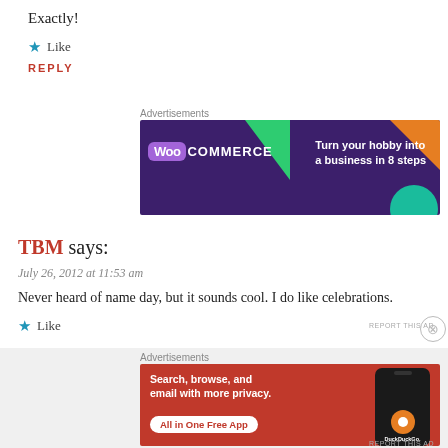Exactly!
★ Like
REPLY
Advertisements
[Figure (illustration): WooCommerce banner ad: dark purple background with green and orange geometric shapes. Logo shows 'Woo' in a speech bubble followed by 'COMMERCE'. Tagline: 'Turn your hobby into a business in 8 steps']
TBM says:
July 26, 2012 at 11:53 am
Never heard of name day, but it sounds cool. I do like celebrations.
★ Like
Advertisements
[Figure (illustration): DuckDuckGo banner ad: orange-red background. Text: 'Search, browse, and email with more privacy. All in One Free App'. Shows a phone with DuckDuckGo logo and brand name.]